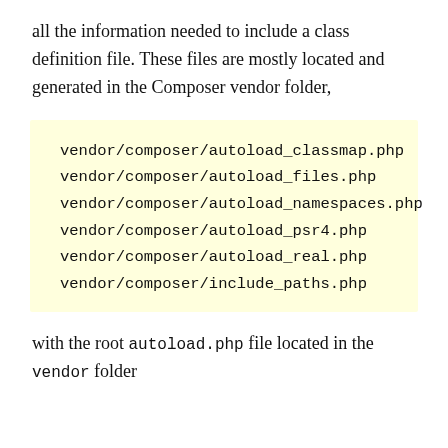all the information needed to include a class definition file. These files are mostly located and generated in the Composer vendor folder,
vendor/composer/autoload_classmap.php
vendor/composer/autoload_files.php
vendor/composer/autoload_namespaces.php
vendor/composer/autoload_psr4.php
vendor/composer/autoload_real.php
vendor/composer/include_paths.php
with the root autoload.php file located in the vendor folder